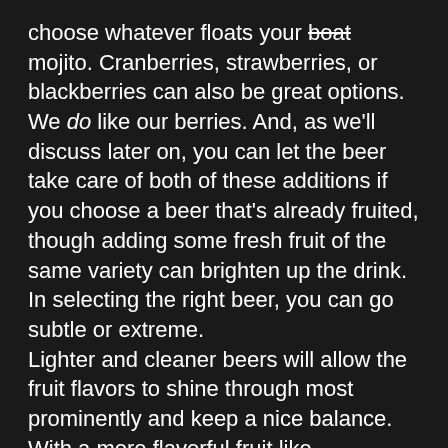choose whatever floats your boat mojito. Cranberries, strawberries, or blackberries can also be great options. We do like our berries. And, as we'll discuss later on, you can let the beer take care of both of these additions if you choose a beer that's already fruited, though adding some fresh fruit of the same variety can brighten up the drink.
In selecting the right beer, you can go subtle or extreme.
Lighter and cleaner beers will allow the fruit flavors to shine through most prominently and keep a nice balance. With a more flavorful fruit like blueberries, you should stick to a beer that packs a more palatable punch. One interesting